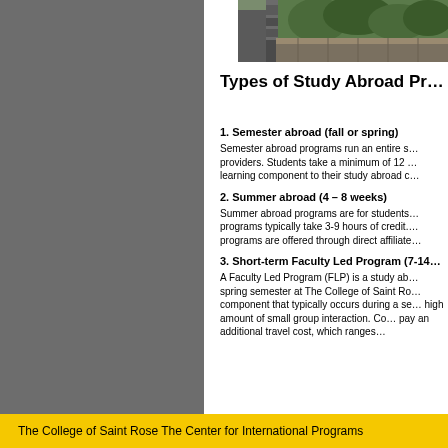[Figure (photo): Aerial or landscape photograph showing a stone wall or fortification with green forested hills in the background, possibly the Great Wall of China.]
Types of Study Abroad Pr…
1. Semester abroad (fall or spring)
Semester abroad programs run an entire s… providers. Students take a minimum of 12 … learning component to their study abroad c…
2. Summer abroad (4 – 8 weeks)
Summer abroad programs are for students… programs typically take 3-9 hours of credit.… programs are offered through direct affiliate…
3. Short-term Faculty Led Program (7-14…
A Faculty Led Program (FLP) is a study ab… spring semester at The College of Saint Ro… component that typically occurs during a se… high amount of small group interaction. Co… pay an additional travel cost, which ranges…
The College of Saint Rose The Center for International Programs